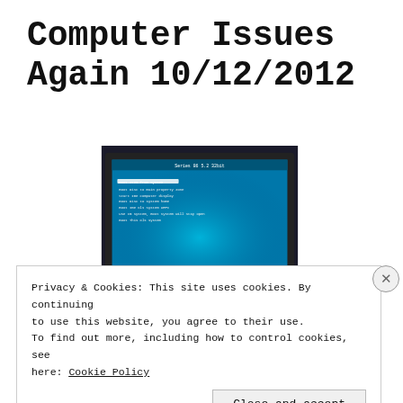Computer Issues Again 10/12/2012
[Figure (photo): A monitor displaying a blue BIOS/system boot menu screen with white text options, photographed in a dark room.]
Privacy & Cookies: This site uses cookies. By continuing to use this website, you agree to their use. To find out more, including how to control cookies, see here: Cookie Policy
Close and accept